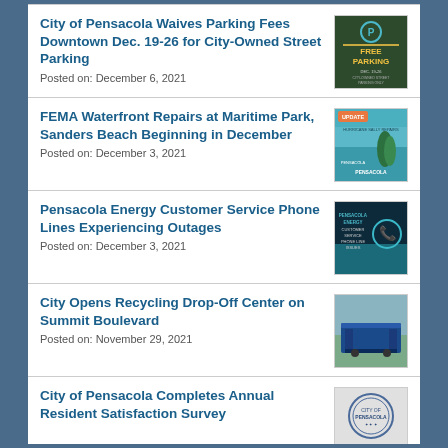City of Pensacola Waives Parking Fees Downtown Dec. 19-26 for City-Owned Street Parking
Posted on: December 6, 2021
[Figure (photo): Free Parking sign graphic with City of Pensacola branding on dark green background]
FEMA Waterfront Repairs at Maritime Park, Sanders Beach Beginning in December
Posted on: December 3, 2021
[Figure (photo): Hurricane Sally Repairs update graphic with teal/beach imagery and Pensacola branding]
Pensacola Energy Customer Service Phone Lines Experiencing Outages
Posted on: December 3, 2021
[Figure (photo): Pensacola Energy Customer Service Phone Line Issues graphic on dark teal background with phone icon]
City Opens Recycling Drop-Off Center on Summit Boulevard
Posted on: November 29, 2021
[Figure (photo): Blue recycling dumpster container in outdoor field]
City of Pensacola Completes Annual Resident Satisfaction Survey
[Figure (photo): City of Pensacola official seal/logo on light background]